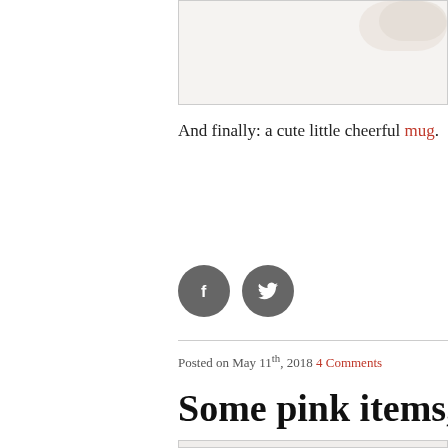[Figure (photo): Top portion of a product image, partially cropped, showing what appears to be a mug or similar item]
And finally: a cute little cheerful mug.
[Figure (other): Two circular social media share buttons: Facebook (f) and Twitter (bird icon), both in dark gray]
Posted on May 11th, 2018 4 Comments
Some pink items, ju
[Figure (photo): Bottom product image, partially visible, showing a light textured background with pink items]